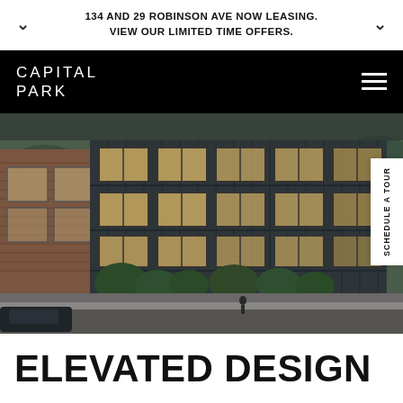134 AND 29 ROBINSON AVE NOW LEASING. VIEW OUR LIMITED TIME OFFERS.
CAPITAL PARK
[Figure (photo): Architectural rendering of a modern multi-story apartment building at 134 Robinson Ave, featuring dark vertical siding, brick accents, large windows with warm interior lighting, trees, and pedestrians. Number 134 visible near main entrance.]
SCHEDULE A TOUR
ELEVATED DESIGN